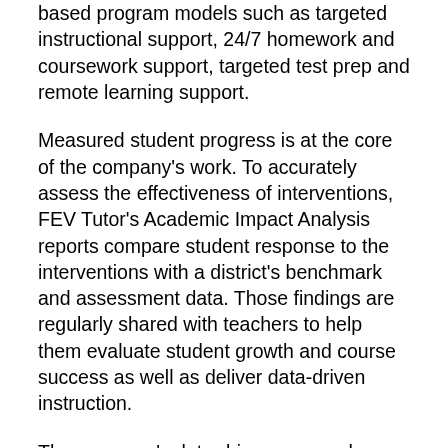based program models such as targeted instructional support, 24/7 homework and coursework support, targeted test prep and remote learning support.
Measured student progress is at the core of the company's work. To accurately assess the effectiveness of interventions, FEV Tutor's Academic Impact Analysis reports compare student response to the interventions with a district's benchmark and assessment data. Those findings are regularly shared with teachers to help them evaluate student growth and course success as well as deliver data-driven instruction.
The company's data-driven approach involves using formative assessment in the form of exit tickets to measure student growth and progress. The company's proven track record of success is reflected in the exit tickets' average score of 80%, indicating that students left sessions with a good understanding of the material that had been covered. Students have also voiced their own